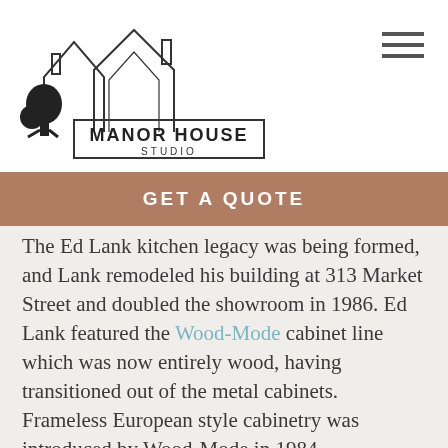[Figure (logo): Manor House Studio logo with house outlines, tree, and text 'MANOR HOUSE STUDIO']
GET A QUOTE
The Ed Lank kitchen legacy was being formed, and Lank remodeled his building at 313 Market Street and doubled the showroom in 1986. Ed Lank featured the Wood-Mode cabinet line which was now entirely wood, having transitioned out of the metal cabinets. Frameless European style cabinetry was introduced by Wood-Mode in 1984 revolutionizing the American market. Open air kitchen/dining/living space started to become popular. The whole idea of cooking was changing with the advent of popular